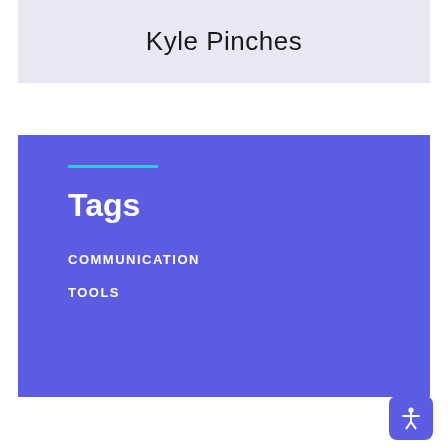Kyle Pinches
Tags
COMMUNICATION
TOOLS